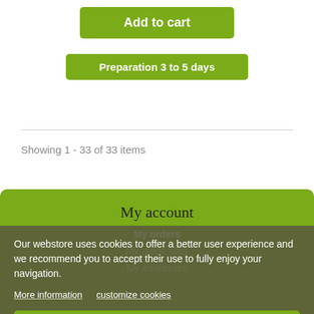Add to cart
Preparation 3 to 5 days
Showing 1 - 33 of 33 items
My account
My orders
My credit slips
My addresses
Our webstore uses cookies to offer a better user experience and we recommend you to accept their use to fully enjoy your navigation.
More information
customize cookies
I ACCEPT